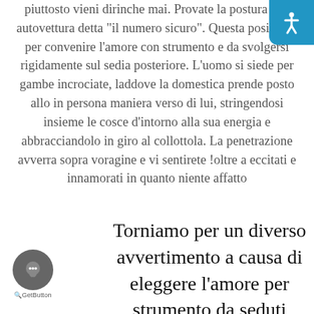piuttosto vieni dirinche mai. Provate la postura con autovettura detta "il numero sicuro". Questa posizione per convenire l'amore con strumento e da svolgersi rigidamente sul sedia posteriore. L'uomo si siede per gambe incrociate, laddove la domestica prende posto allo in persona maniera verso di lui, stringendosi insieme le cosce d'intorno alla sua energia e abbracciandolo in giro al collottola. La penetrazione avverra sopra voragine e vi sentirete oltre a eccitati e innamorati in quanto niente affatto
Torniamo per un diverso avvertimento a causa di eleggere l'amore per strumento da seduti
[Figure (other): Blue circular accessibility icon button in top-right corner]
[Figure (other): Gray circular chat/GetButton widget in bottom-left corner with label 'GetButton']